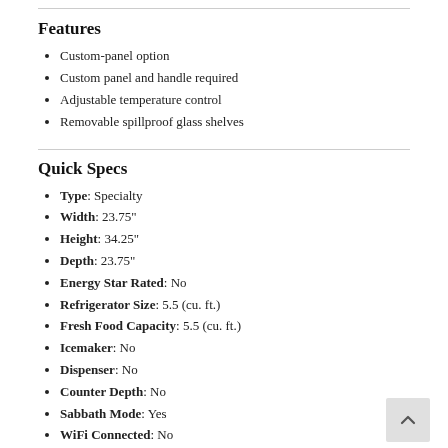Features
Custom-panel option
Custom panel and handle required
Adjustable temperature control
Removable spillproof glass shelves
Quick Specs
Type: Specialty
Width: 23.75"
Height: 34.25"
Depth: 23.75"
Energy Star Rated: No
Refrigerator Size: 5.5 (cu. ft.)
Fresh Food Capacity: 5.5 (cu. ft.)
Icemaker: No
Dispenser: No
Counter Depth: No
Sabbath Mode: Yes
WiFi Connected: No
See More